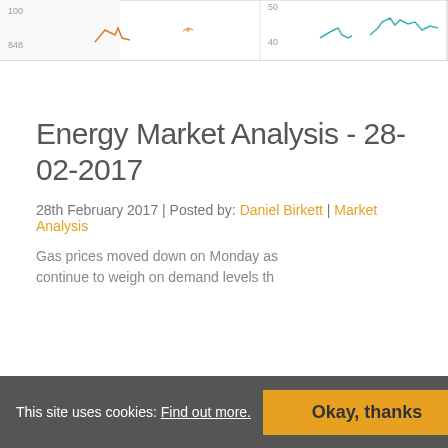[Figure (line-chart): Partial view of a multi-panel energy market chart strip at top of page showing orange and teal line charts with y-axis labels partially visible]
Energy Market Analysis - 28-02-2017
28th February 2017 | Posted by: Daniel Birkett | Market Analysis
Gas prices moved down on Monday as ... continue to weigh on demand levels th...
This site uses cookies: Find out more. Okay, thanks